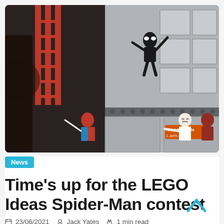[Figure (photo): LEGO Spider-Man scene with minifigures including Venom climbing a building, Spider-Man, J. Jonah Jameson with a 'Just the Facts' sign, and a red-suited figure. Scene features red fire escape ladders and grey building facade.]
News
Time's up for the LEGO Ideas Spider-Man contest
23/06/2021   Jack Yates   1 min read